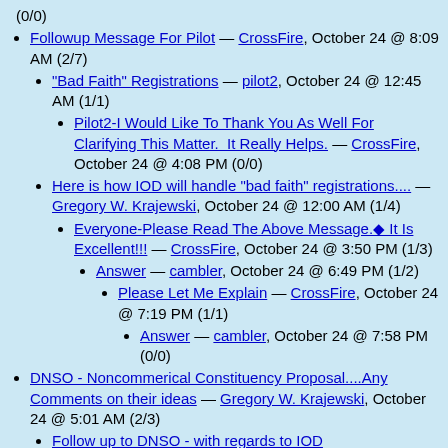(0/0)
Followup Message For Pilot — CrossFire, October 24 @ 8:09 AM (2/7)
"Bad Faith" Registrations — pilot2, October 24 @ 12:45 AM (1/1)
Pilot2-I Would Like To Thank You As Well For Clarifying This Matter.  It Really Helps. — CrossFire, October 24 @ 4:08 PM (0/0)
Here is how IOD will handle "bad faith" registrations.... — Gregory W. Krajewski, October 24 @ 12:00 AM (1/4)
Everyone-Please Read The Above Message.◆ It Is Excellent!!! — CrossFire, October 24 @ 3:50 PM (1/3)
Answer — cambler, October 24 @ 6:49 PM (1/2)
Please Let Me Explain — CrossFire, October 24 @ 7:19 PM (1/1)
Answer — cambler, October 24 @ 7:58 PM (0/0)
DNSO - Noncommerical Constituency Proposal....Any Comments on their ideas — Gregory W. Krajewski, October 24 @ 5:01 AM (2/3)
Follow up to DNSO - with regards to IOD